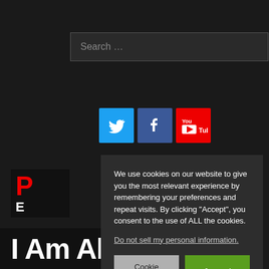[Figure (screenshot): Search input box with placeholder text 'Search ...' on dark background]
[Figure (infographic): Social media icons: Twitter (blue bird), Facebook (blue f), YouTube (red play button)]
[Figure (logo): Partially visible logo with red letter and white letter E]
We use cookies on our website to give you the most relevant experience by remembering your preferences and repeat visits. By clicking “Accept”, you consent to the use of ALL the cookies.
Do not sell my personal information.
Cookie Settings
Accept
Privacy Policy
I Am Al